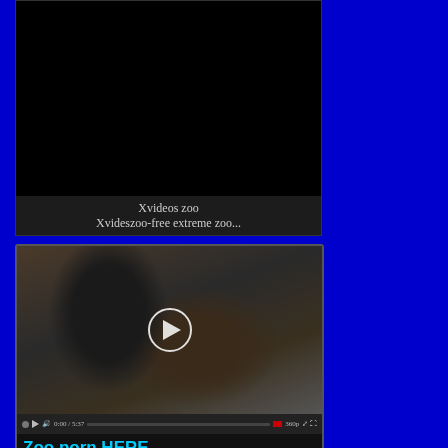[Figure (screenshot): Black video player embed area, top portion of page]
Xvideos zoo
Xvideszoo-free extreme zoo...
[Figure (screenshot): Video player showing a person and a large black dog, with play button overlay, video controls bar at bottom, and text 'Zoo porn HERE']
Tube zoo tube